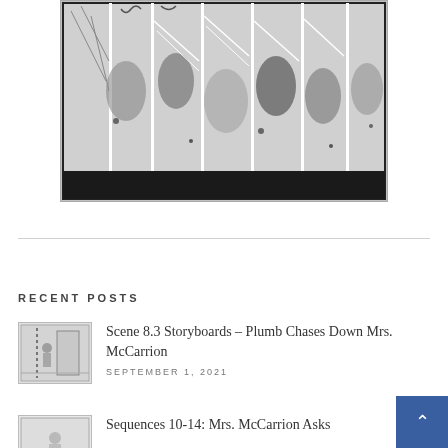[Figure (illustration): Black and white comic/manga style illustration showing action scene with characters in panels with dynamic motion lines and effects]
RECENT POSTS
[Figure (illustration): Small thumbnail of storyboard sketch showing a figure near a door with dashed line]
Scene 8.3 Storyboards – Plumb Chases Down Mrs. McCarrion
SEPTEMBER 1, 2021
[Figure (illustration): Small thumbnail of storyboard sketch]
Sequences 10-14: Mrs. McCarrion Asks